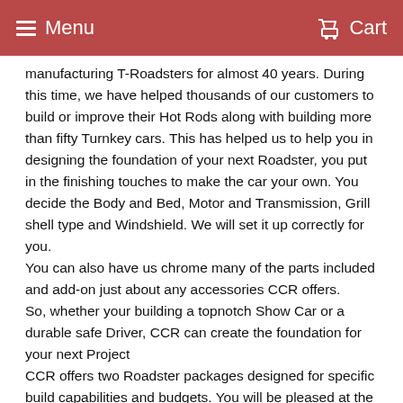Menu   Cart
manufacturing T-Roadsters for almost 40 years. During this time, we have helped thousands of our customers to build or improve their Hot Rods along with building more than fifty Turnkey cars. This has helped us to help you in designing the foundation of your next Roadster, you put in the finishing touches to make the car your own. You decide the Body and Bed, Motor and Transmission, Grill shell type and Windshield. We will set it up correctly for you.
You can also have us chrome many of the parts included and add-on just about any accessories CCR offers.
So, whether your building a topnotch Show Car or a durable safe Driver, CCR can create the foundation for your next Project
CCR offers two Roadster packages designed for specific build capabilities and budgets. You will be pleased at the level of quality and engineering put into our products. CCR only uses the best materials, Heli-arc welding and top notch vendors.